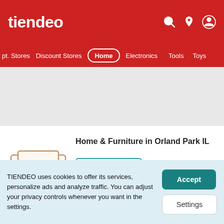tiendeo
pt. Stores  Discount Stores  Home  Electronics  Tools  Toys
[Figure (other): Gray advertisement banner area]
[Figure (illustration): Sofa/couch icon in tan/beige outline style]
Home & Furniture in Orland Park IL
Create alert
View stores
TIENDEO uses cookies to offer its services, personalize ads and analyze traffic. You can adjust your privacy controls whenever you want in the settings.
Accept
Settings